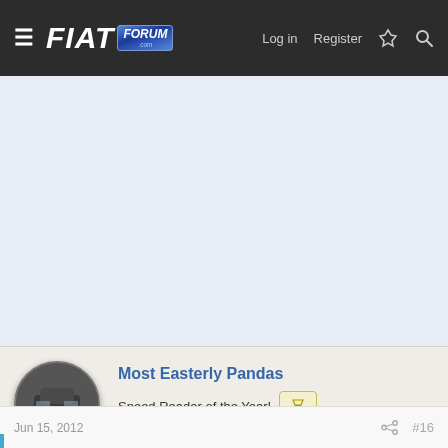FIAT FORUM .com — Log in | Register
[Figure (other): Advertisement banner area — light blue/grey background placeholder]
Most Easterly Pandas
Speed Reader of the Year!
Jun 15, 2012  #16